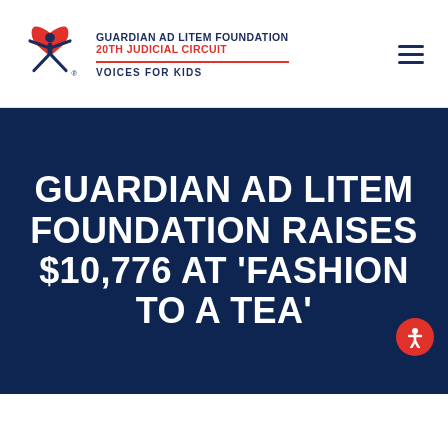[Figure (logo): Guardian Ad Litem Foundation logo: red heart shape with blue figure inside, blue arms and legs extended outward. Registered trademark symbol at lower right.]
GUARDIAN AD LITEM FOUNDATION
20th JUDICIAL CIRCUIT
VOICES FOR KIDS
GUARDIAN AD LITEM FOUNDATION RAISES $10,776 AT 'FASHION TO A TEA'